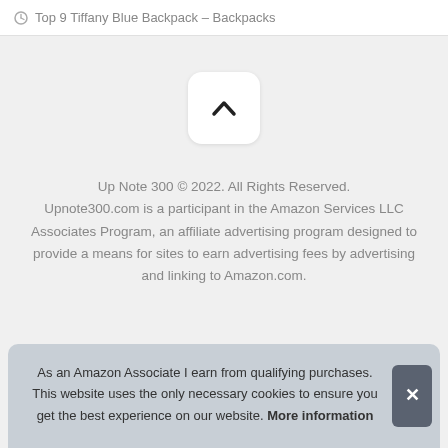Top 9 Tiffany Blue Backpack – Backpacks
[Figure (other): Scroll-to-top button with upward chevron arrow on white rounded square background]
Up Note 300 © 2022. All Rights Reserved. Upnote300.com is a participant in the Amazon Services LLC Associates Program, an affiliate advertising program designed to provide a means for sites to earn advertising fees by advertising and linking to Amazon.com.
As an Amazon Associate I earn from qualifying purchases. This website uses the only necessary cookies to ensure you get the best experience on our website. More information